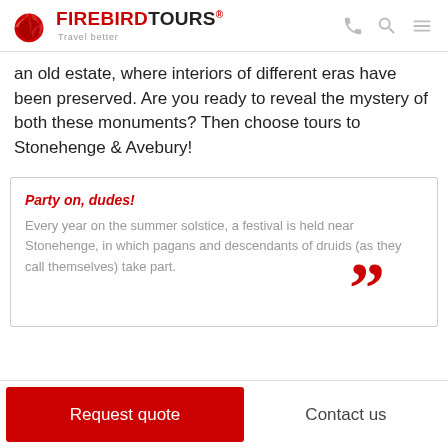FIREBIRDTOURS® Travel better
an old estate, where interiors of different eras have been preserved. Are you ready to reveal the mystery of both these monuments? Then choose tours to Stonehenge & Avebury!
Party on, dudes! Every year on the summer solstice, a festival is held near Stonehenge, in which pagans and descendants of druids (as they call themselves) take part.
Request quote
Contact us